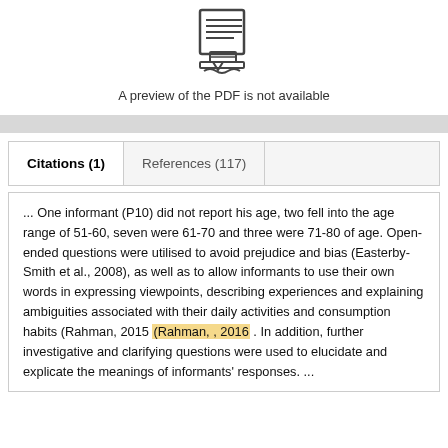[Figure (illustration): Icon of a document/PDF with a pencil, indicating PDF preview unavailable]
A preview of the PDF is not available
Citations (1)    References (117)
... One informant (P10) did not report his age, two fell into the age range of 51-60, seven were 61-70 and three were 71-80 of age. Open-ended questions were utilised to avoid prejudice and bias (Easterby-Smith et al., 2008), as well as to allow informants to use their own words in expressing viewpoints, describing experiences and explaining ambiguities associated with their daily activities and consumption habits (Rahman, 2015 (Rahman, , 2016 . In addition, further investigative and clarifying questions were used to elucidate and explicate the meanings of informants' responses. ...